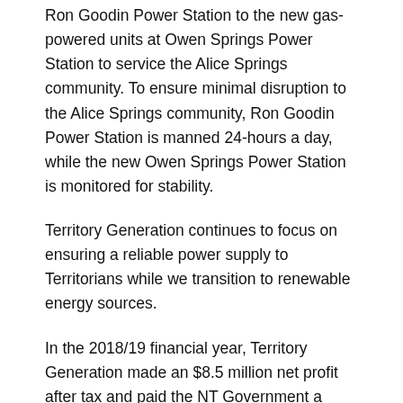Ron Goodin Power Station to the new gas-powered units at Owen Springs Power Station to service the Alice Springs community. To ensure minimal disruption to the Alice Springs community, Ron Goodin Power Station is manned 24-hours a day, while the new Owen Springs Power Station is monitored for stability.
Territory Generation continues to focus on ensuring a reliable power supply to Territorians while we transition to renewable energy sources.
In the 2018/19 financial year, Territory Generation made an $8.5 million net profit after tax and paid the NT Government a $4.25m dividend.